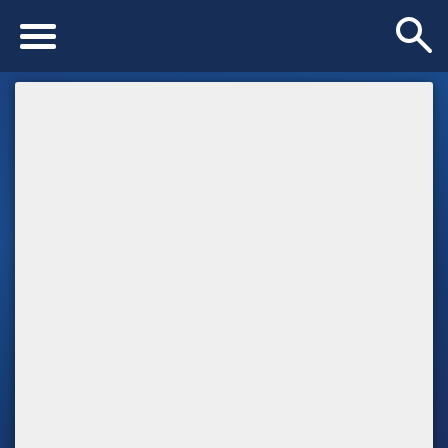[Figure (photo): A white/light gray rectangular image placeholder card on a dark blue background, representing a photo or article image]
By now we've all heard the news: Utah men's basketball coach Larry Krystkowiak has requested the cancellation of the second game in the BYU-Utah basketball series that was scheduled to be played in December of this year in the Marriott Center. Krystkowiak cited concern for the safety of the players as his reason for taking a break from a rivalry that has been played every year since 1909 with the only